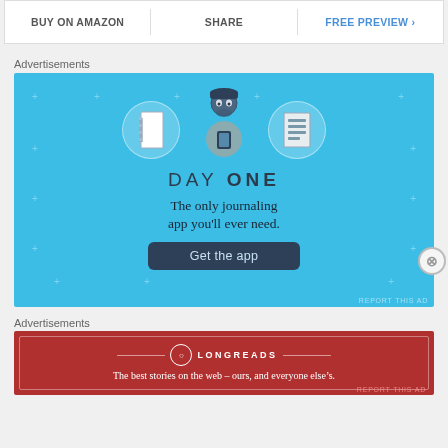BUY ON AMAZON | SHARE | FREE PREVIEW >
Advertisements
[Figure (illustration): Day One journaling app advertisement on blue background with illustration of a person holding a phone, flanked by a notebook icon and a lined-list icon in circles. Text: DAY ONE - The only journaling app you'll ever need. Button: Get the app.]
Advertisements
[Figure (illustration): Longreads advertisement on red background. Logo with circle L icon and LONGREADS text with decorative lines. Tagline: The best stories on the web – ours, and everyone else's.]